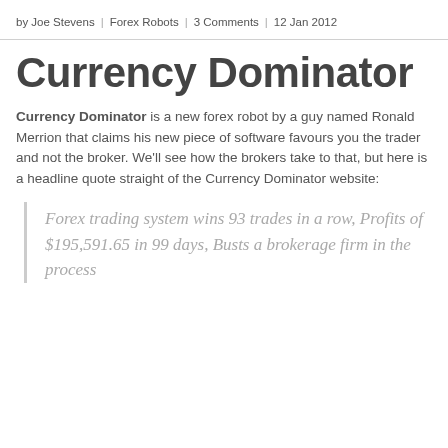by Joe Stevens | Forex Robots | 3 Comments | 12 Jan 2012
Currency Dominator
Currency Dominator is a new forex robot by a guy named Ronald Merrion that claims his new piece of software favours you the trader and not the broker. We'll see how the brokers take to that, but here is a headline quote straight of the Currency Dominator website:
Forex trading system wins 93 trades in a row, Profits of $195,591.65 in 99 days, Busts a brokerage firm in the process